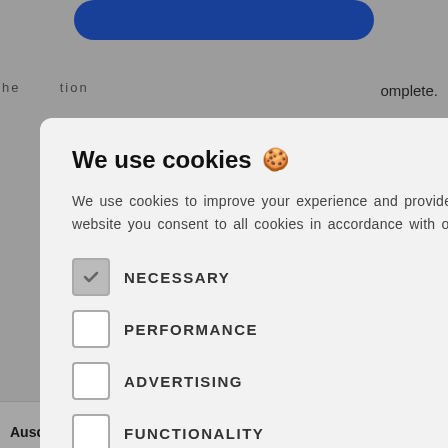[Figure (screenshot): Website background with blue button at top, Print and PDF links, person photo thumbnail, and bottom navigation items 'Auscultation &' and 'Explaining a']
We use cookies 🍪
We use cookies to improve your experience and provide relevant advertising. By using our website you consent to all cookies in accordance with our Cookie Policy. Read more
NECESSARY (checked)
PERFORMANCE
ADVERTISING
FUNCTIONALITY
OTHER
ACCEPT ALL